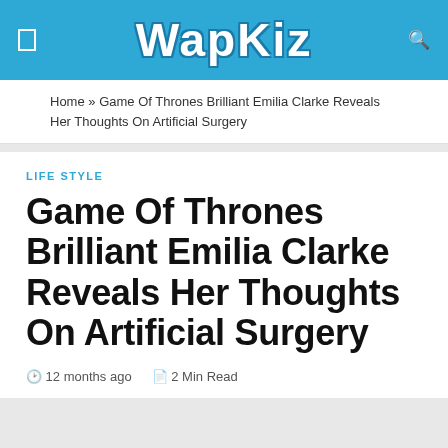WapKiz
Home » Game Of Thrones Brilliant Emilia Clarke Reveals Her Thoughts On Artificial Surgery
LIFE STYLE
Game Of Thrones Brilliant Emilia Clarke Reveals Her Thoughts On Artificial Surgery
12 months ago  2 Min Read